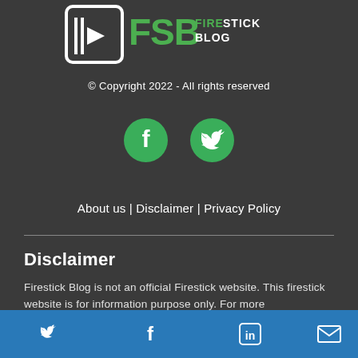[Figure (logo): FSB FireStick Blog logo — square icon with play button and 'FSB FIRESTICK BLOG' text in white and green]
© Copyright 2022 - All rights reserved
[Figure (infographic): Social media icons: Facebook (green circle with f) and Twitter (green circle with bird)]
About us | Disclaimer | Privacy Policy
Disclaimer
Firestick Blog is not an official Firestick website. This firestick website is for information purpose only. For more information,please contact: support@firestickblog.com
Twitter | Facebook | LinkedIn | Email